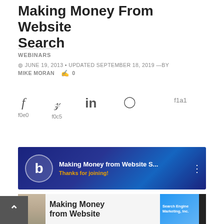Making Money From Website Search
WEBINARS
JUNE 19, 2013 • UPDATED SEPTEMBER 18, 2019 —BY MIKE MORAN  0
[Figure (screenshot): Social share icons row: f (facebook) with f0e0, twitter bird with f0c5, in (linkedin), pinterest pin, and f1a1 label]
[Figure (screenshot): YouTube-style video thumbnail with dark blue gradient background, circular logo with letter b, title text 'Making Money from Website S...' and orange subtitle 'Thanks for joining!']
[Figure (photo): Bottom strip showing partial photo of person's face, bold text 'Making Money from Website', a book cover for 'Search Engine Marketing, Inc.' and a dark spine strip]